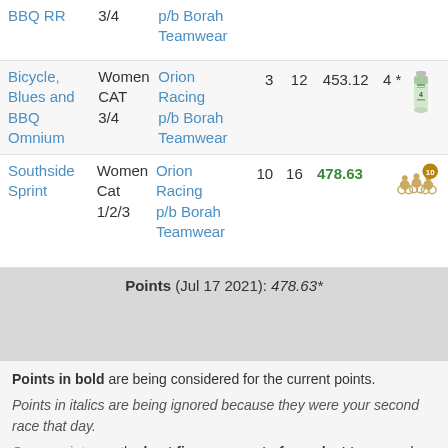| Race | Category | Team |  |  | Points | Pos |  |
| --- | --- | --- | --- | --- | --- | --- | --- |
| BBQ RR | 3/4 | p/b Borah Teamwear |  |  |  |  |  |
| Bicycle, Blues and BBQ Omnium | Women CAT 3/4 | Orion Racing p/b Borah Teamwear | 3 | 12 | 453.12 | 4 * | bottle |
| Southside Sprint | Women Cat 1/2/3 | Orion Racing p/b Borah Teamwear | 10 | 16 | 478.63 |  | cycling badge 10 |
Points (Jul 17 2021): 478.63*
Points in bold are being considered for the current points.
Points in italics are being ignored because they were your second race that day.
Green points are the best five races out of your last ten race days